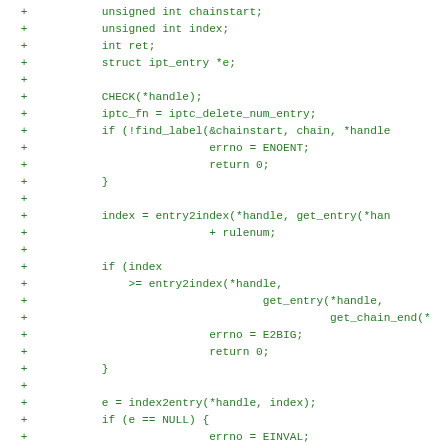Diff/patch code block showing additions to a C function including variable declarations, CHECK macro, find_label call, index computation, bounds check, and delete_rules call.